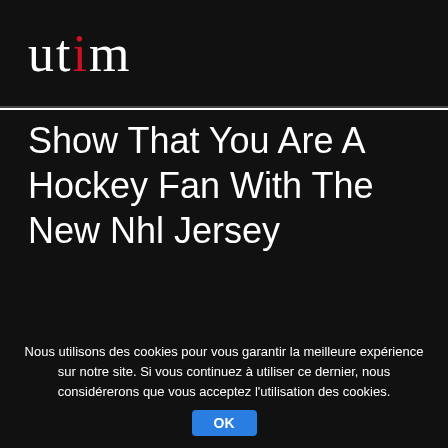utim
Show That You Are A Hockey Fan With The New Nhl Jersey
4 OCTOBRE 2015   BY WEBUTIM   IN PRESSE
Nous utilisons des cookies pour vous garantir la meilleure expérience sur notre site. Si vous continuez à utiliser ce dernier, nous considérerons que vous acceptez l'utilisation des cookies. OK